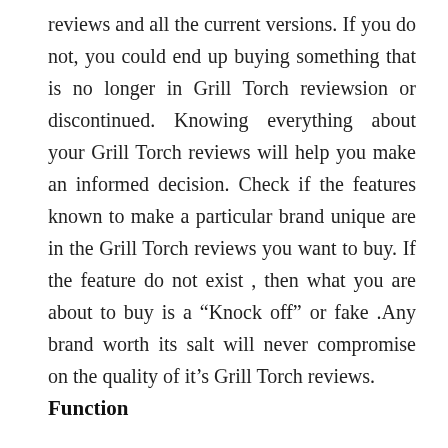reviews and all the current versions. If you do not, you could end up buying something that is no longer in Grill Torch reviewsion or discontinued. Knowing everything about your Grill Torch reviews will help you make an informed decision. Check if the features known to make a particular brand unique are in the Grill Torch reviews you want to buy. If the feature do not exist , then what you are about to buy is a “Knock off” or fake .Any brand worth its salt will never compromise on the quality of it’s Grill Torch reviews.
Function
You should always check before you buy a Grill Torch reviews from the store to make sure that